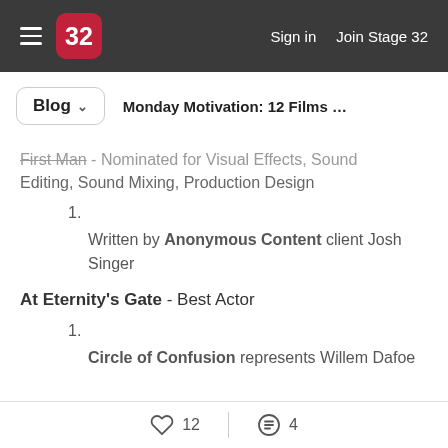Sign in   Join Stage 32
Blog  Monday Motivation: 12 Films Up for Osca...
First Man - Nominated for Visual Effects, Sound Editing, Sound Mixing, Production Design
Written by Anonymous Content client Josh Singer
At Eternity's Gate - Best Actor
Circle of Confusion represents Willem Dafoe
12   4